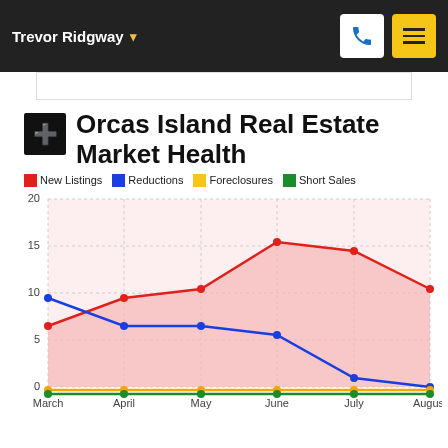Trevor Ridgway
Orcas Island Real Estate Market Health
[Figure (line-chart): Orcas Island Real Estate Market Health]